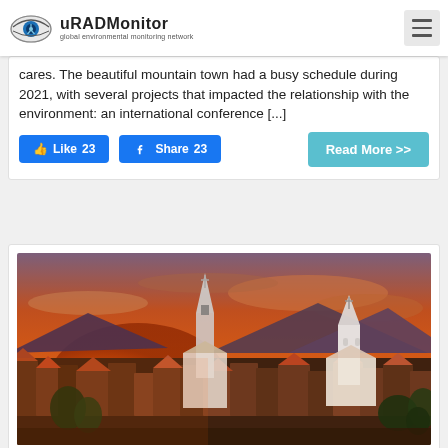uRADMonitor — global environmental monitoring network
cares. The beautiful mountain town had a busy schedule during 2021, with several projects that impacted the relationship with the environment: an international conference [...]
[Figure (photo): Aerial sunset view of a mountain town with church steeples, red-tiled rooftops, and mountains in the background under an orange sky]